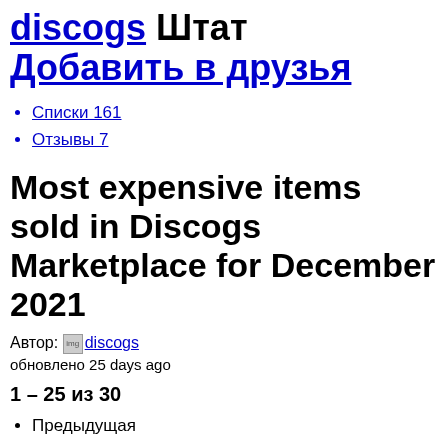discogs Штат Добавить в друзья
Списки 161
Отзывы 7
Most expensive items sold in Discogs Marketplace for December 2021
Автор: discogs discogs
обновлено 25 days ago
1 – 25 из 30
Предыдущая
1
2
Следующая